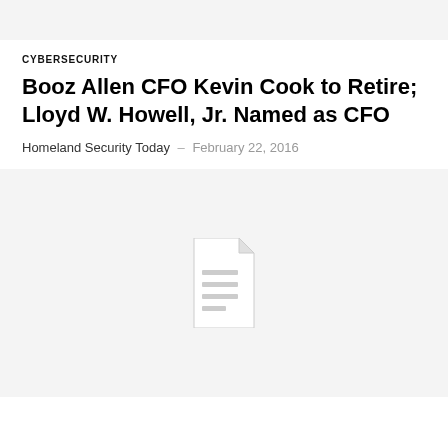CYBERSECURITY
Booz Allen CFO Kevin Cook to Retire; Lloyd W. Howell, Jr. Named as CFO
Homeland Security Today – February 22, 2016
[Figure (illustration): Document placeholder image showing a generic file/document icon on a light gray background]